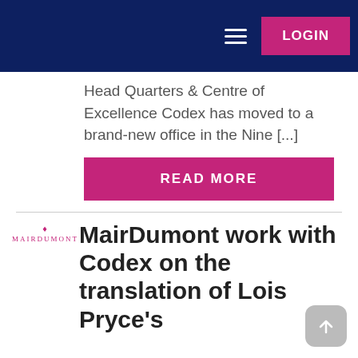LOGIN
Head Quarters & Centre of Excellence Codex has moved to a brand-new office in the Nine [...]
READ MORE
[Figure (logo): MairDumont logo with small diamond symbol and text in pink/magenta]
MairDumont work with Codex on the translation of Lois Pryce's